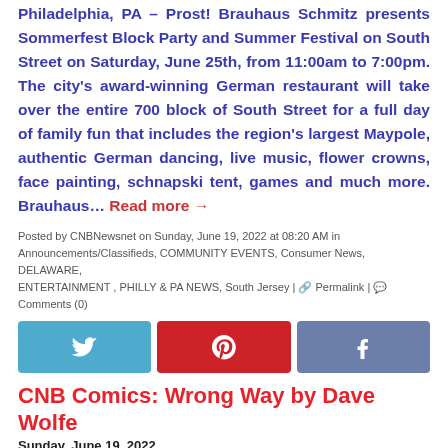Philadelphia, PA – Prost! Brauhaus Schmitz presents Sommerfest Block Party and Summer Festival on South Street on Saturday, June 25th, from 11:00am to 7:00pm. The city's award-winning German restaurant will take over the entire 700 block of South Street for a full day of family fun that includes the region's largest Maypole, authentic German dancing, live music, flower crowns, face painting, schnapski tent, games and much more. Brauhaus... Read more →
Posted by CNBNewsnet on Sunday, June 19, 2022 at 08:20 AM in Announcements/Classifieds, COMMUNITY EVENTS, Consumer News, DELAWARE, ENTERTAINMENT , PHILLY & PA NEWS, South Jersey | Permalink | Comments (0)
[Figure (other): Three social media sharing buttons: Twitter (light blue), Pinterest (red), Facebook (blue-grey)]
CNB Comics: Wrong Way by Dave Wolfe
Sunday, June 19, 2022